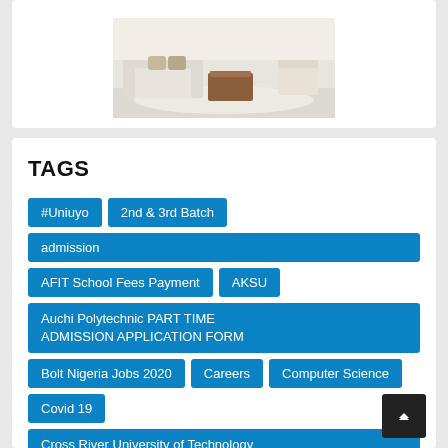[Figure (photo): Interior room photo showing a living room with a brown coffee table, white sofa, and chairs on a patterned rug]
TAGS
#Uniuyo
2nd & 3rd Batch
admission
AFIT School Fees Payment
AKSU
Auchi Polytechnic PART TIME ADMISSION APPLICATION FORM
Bolt Nigeria Jobs 2020
Careers
Computer Science
Covid 19
Cross River University of Technology PART TIME ADMISSION